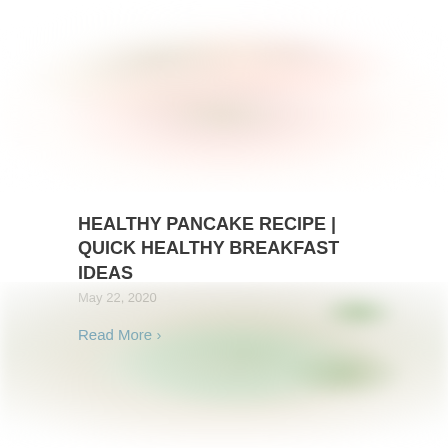[Figure (photo): Blurred top portion of a food photo showing pancakes with toppings, cropped at top of frame]
HEALTHY PANCAKE RECIPE | QUICK HEALTHY BREAKFAST IDEAS
May 22, 2020
Read More >
[Figure (photo): Blurred bottom food photo showing a salad or wrap dish with green vegetables]